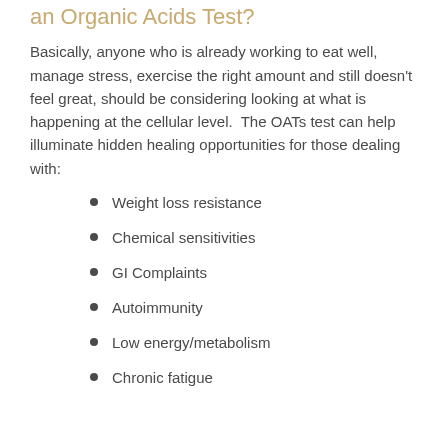an Organic Acids Test?
Basically, anyone who is already working to eat well, manage stress, exercise the right amount and still doesn't feel great, should be considering looking at what is happening at the cellular level. The OATs test can help illuminate hidden healing opportunities for those dealing with:
Weight loss resistance
Chemical sensitivities
GI Complaints
Autoimmunity
Low energy/metabolism
Chronic fatigue